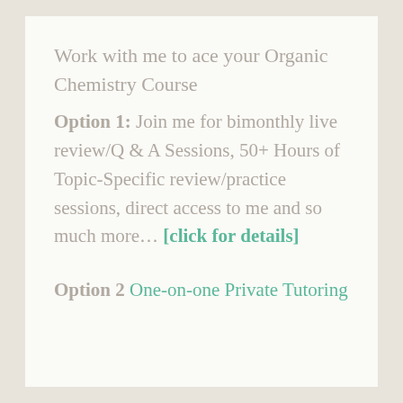Work with me to ace your Organic Chemistry Course
Option 1: Join me for bimonthly live review/Q & A Sessions, 50+ Hours of Topic-Specific review/practice sessions, direct access to me and so much more… [click for details]
Option 2 One-on-one Private Tutoring